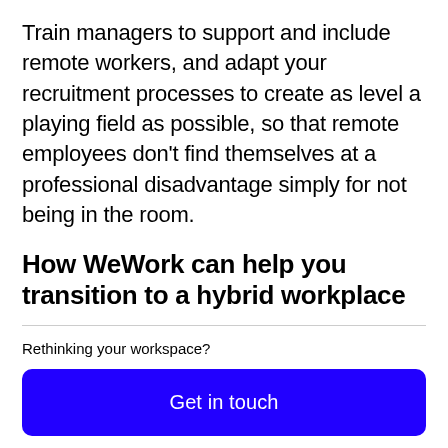Train managers to support and include remote workers, and adapt your recruitment processes to create as level a playing field as possible, so that remote employees don't find themselves at a professional disadvantage simply for not being in the room.
How WeWork can help you transition to a hybrid workplace
Rethinking your workspace?
Get in touch